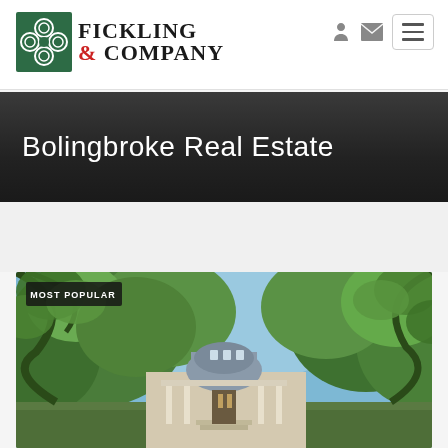Fickling & Company
Bolingbroke Real Estate
[Figure (photo): Exterior photo of a large estate home with a domed roof, partially obscured by large oak trees with green foliage, blue sky visible. A 'MOST POPULAR' badge overlays the top-left corner of the image.]